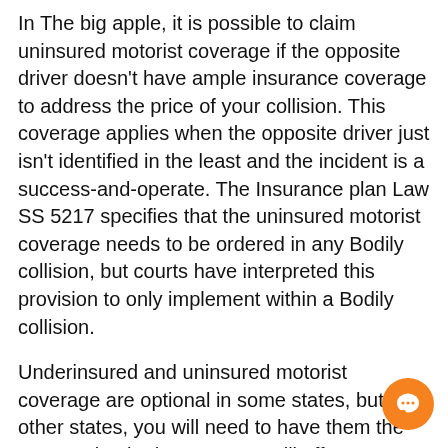In The big apple, it is possible to claim uninsured motorist coverage if the opposite driver doesn't have ample insurance coverage to address the price of your collision. This coverage applies when the opposite driver just isn't identified in the least and the incident is a success-and-operate. The Insurance plan Law SS 5217 specifies that the uninsured motorist coverage needs to be ordered in any Bodily collision, but courts have interpreted this provision to only implement within a Bodily collision.
Underinsured and uninsured motorist coverage are optional in some states, but in other states, you will need to have them the two. Buying both coverages will offer you more protection in case you really need to pay back medical payments or other costs. Should the uninsured driver leaves you by using a harmed motor vehicle, the uninsured motorist coverage can pay for the repairs. While this coverage is just not demanded, it might be a smart idea to carry no less than the minimum amount volume of legal responsibility protection.
[Figure (other): Orange circular chat/messenger button in bottom-right corner]